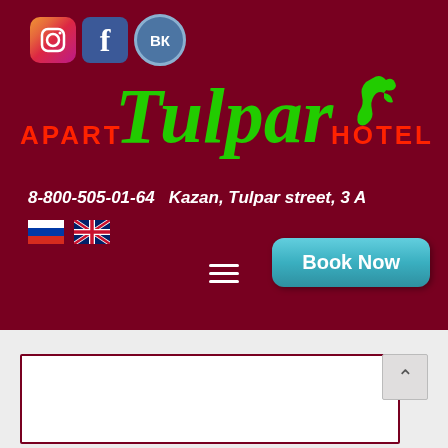[Figure (screenshot): Header section of Tulpar Apart Hotel website with dark red/maroon background, social media icons (Instagram, Facebook, VKontakte), Tulpar logo in green cursive with horse icon, APART and HOTEL text in red, contact info, language flags, Book Now button, and hamburger menu]
8-800-505-01-64   Kazan, Tulpar street, 3 A
[Figure (screenshot): White content area with dark red border box at bottom of page, and scroll-to-top arrow button]